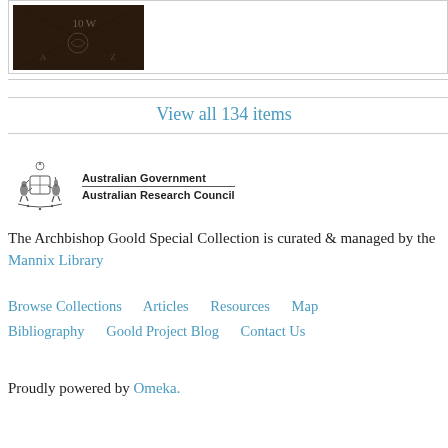[Figure (photo): Dark brown embossed book cover showing faint decorative text and a design, partially visible at the top of the page.]
View all 134 items
[Figure (logo): Australian Government Australian Research Council logo with kangaroo and emu coat of arms crest.]
The Archbishop Goold Special Collection is curated & managed by the Mannix Library
Browse Collections   Articles   Resources   Map   Bibliography   Goold Project Blog   Contact Us
Proudly powered by Omeka.